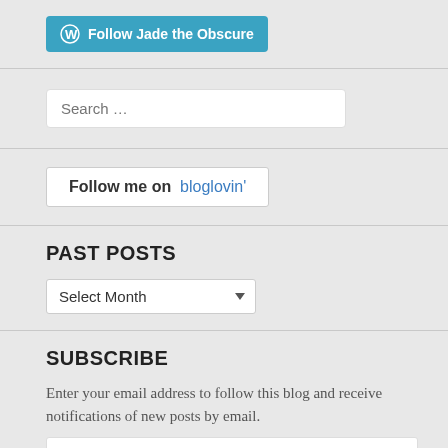[Figure (other): WordPress Follow button — teal/blue button with WordPress logo icon and text 'Follow Jade the Obscure']
[Figure (other): Search input field with placeholder text 'Search ...']
[Figure (other): Bloglovin follow button with text 'Follow me on bloglovin']
PAST POSTS
[Figure (other): Select Month dropdown widget]
SUBSCRIBE
Enter your email address to follow this blog and receive notifications of new posts by email.
[Figure (other): Email Address input field]
[Figure (other): Follow button — dark teal button with white text 'Follow']